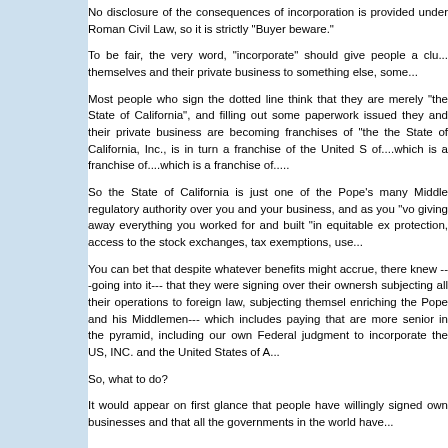No disclosure of the consequences of incorporation is provided under Roman Civil Law, so it is strictly "Buyer beware."
To be fair, the very word, "incorporate" should give people a clue that they are attaching themselves and their private business to something else, some...
Most people who sign the dotted line think that they are merely registering with "the State of California", and filling out some paperwork issued by... they and their private business are becoming franchises of "the... the State of California, Inc., is in turn a franchise of the United S... of....which is a franchise of....which is a franchise of.....
So the State of California is just one of the Pope's many Middle... regulatory authority over you and your business, and as you "vo... giving away everything you worked for and built "in equitable ex... protection, access to the stock exchanges, tax exemptions, use...
You can bet that despite whatever benefits might accrue, there... knew ---going into it--- that they were signing over their ownersh... subjecting all their operations to foreign law, subjecting themsel... enriching the Pope and his Middlemen--- which includes paying... that are more senior in the pyramid, including our own Federal ... judgment to incorporate the US, INC. and the United States of A...
So, what to do?
It would appear on first glance that people have willingly signed... own businesses and that all the governments in the world have...